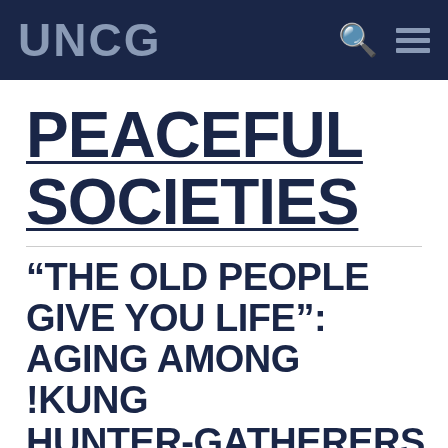UNCG
PEACEFUL SOCIETIES
“THE OLD PEOPLE GIVE YOU LIFE”: AGING AMONG !KUNG HUNTER-GATHERERS